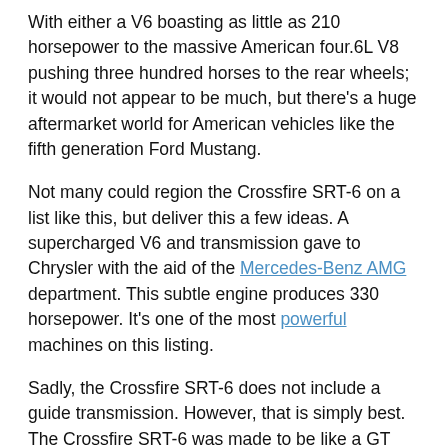With either a V6 boasting as little as 210 horsepower to the massive American four.6L V8 pushing three hundred horses to the rear wheels; it would not appear to be much, but there's a huge aftermarket world for American vehicles like the fifth generation Ford Mustang.
Not many could region the Crossfire SRT-6 on a list like this, but deliver this a few ideas. A supercharged V6 and transmission gave to Chrysler with the aid of the Mercedes-Benz AMG department. This subtle engine produces 330 horsepower. It's one of the most powerful machines on this listing.
Sadly, the Crossfire SRT-6 does not include a guide transmission. However, that is simply best. The Crossfire SRT-6 was made to be like a GT car, but it also is technically a sports activities automobile. The SRT-6 does no longer have the mass enchantment a number of those automobiles provide, however seeing that SRT and AMG worked collectively in this device, it's miles simplest becoming to add it to this listing.
Posted in Sports Cars